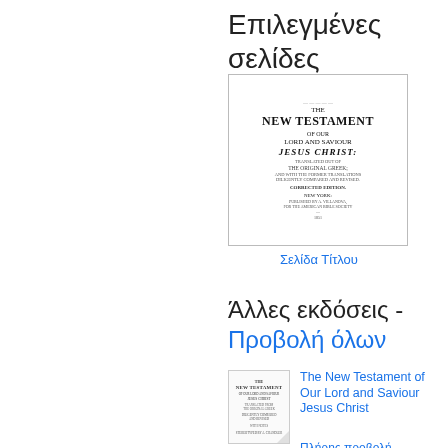Επιλεγμένες σελίδες
[Figure (photo): Scanned title page of The New Testament of Our Lord and Saviour Jesus Christ, translated from the original Greek, corrected from the prior translations, diligently compared and revised. New York.]
Σελίδα Τίτλου
Άλλες εκδόσεις - Προβολή όλων
[Figure (photo): Thumbnail of another edition of The New Testament of Our Lord and Saviour Jesus Christ]
The New Testament of Our Lord and Saviour Jesus Christ
Πλήρης προβολή -